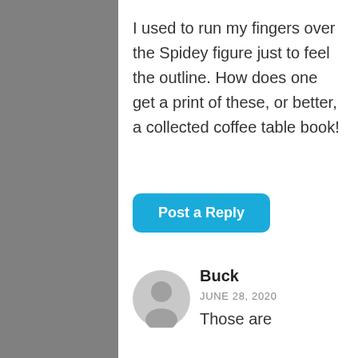I used to run my fingers over the Spidey figure just to feel the outline. How does one get a print of these, or better, a collected coffee table book!
[Figure (other): Post a Reply button — rounded rectangle, blue background (#1aabdb), white bold text]
[Figure (other): Gray circular user avatar icon with silhouette]
Buck
JUNE 28, 2020
Those are